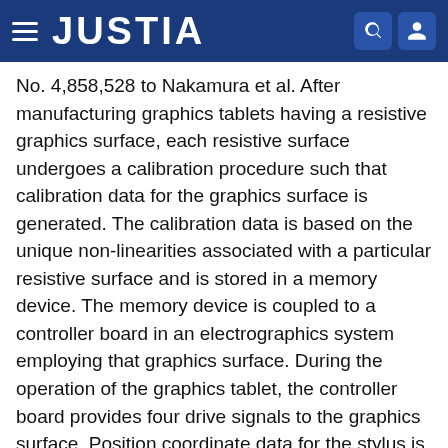JUSTIA
No. 4,858,528 to Nakamura et al. After manufacturing graphics tablets having a resistive graphics surface, each resistive surface undergoes a calibration procedure such that calibration data for the graphics surface is generated. The calibration data is based on the unique non-linearities associated with a particular resistive surface and is stored in a memory device. The memory device is coupled to a controller board in an electrographics system employing that graphics surface. During the operation of the graphics tablet, the controller board provides four drive signals to the graphics surface. Position coordinate data for the stylus is determined by the controller based on the actual position of the stylus. The controller then employs a correction procedure whereby a given coordinate pair is corrected using calibration data taken from the memory device.